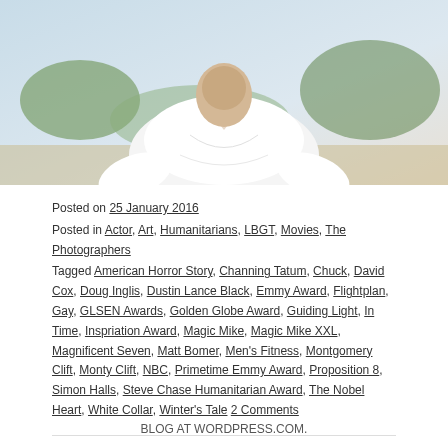[Figure (photo): Man in white t-shirt leaning forward outdoors with blue sky and trees in background]
Posted on 25 January 2016
Posted in Actor, Art, Humanitarians, LBGT, Movies, The Photographers
Tagged American Horror Story, Channing Tatum, Chuck, David Cox, Doug Inglis, Dustin Lance Black, Emmy Award, Flightplan, Gay, GLSEN Awards, Golden Globe Award, Guiding Light, In Time, Inspriation Award, Magic Mike, Magic Mike XXL, Magnificent Seven, Matt Bomer, Men's Fitness, Montgomery Clift, Monty Clift, NBC, Primetime Emmy Award, Proposition 8, Simon Halls, Steve Chase Humanitarian Award, The Nobel Heart, White Collar, Winter's Tale 2 Comments
BLOG AT WORDPRESS.COM.